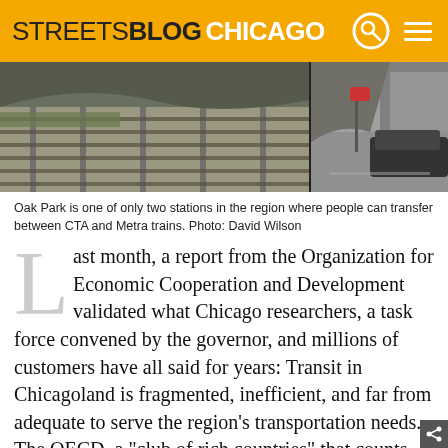STREETSBLOG CHICAGO
[Figure (photo): Railroad tracks and street intersection at Oak Park station, CTA and Metra transfer point]
Oak Park is one of only two stations in the region where people can transfer between CTA and Metra trains. Photo: David Wilson
Last month, a report from the Organization for Economic Cooperation and Development validated what Chicago researchers, a task force convened by the governor, and millions of customers have all said for years: Transit in Chicagoland is fragmented, inefficient, and far from adequate to serve the region’s transportation needs. The OECD, a “club of rich countries” that counts the United States among its 34 members, collects data and publishes research that countries and local